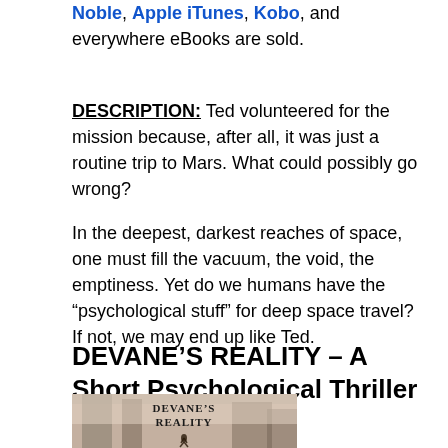Noble, Apple iTunes, Kobo, and everywhere eBooks are sold.
DESCRIPTION: Ted volunteered for the mission because, after all, it was just a routine trip to Mars. What could possibly go wrong?
In the deepest, darkest reaches of space, one must fill the vacuum, the void, the emptiness. Yet do we humans have the “psychological stuff” for deep space travel? If not, we may end up like Ted.
DEVANE’S REALITY – A Short Psychological Thriller
[Figure (illustration): Book cover for Devane's Reality showing title text 'DEVANE'S REALITY' on a building-themed background with a figure silhouette]